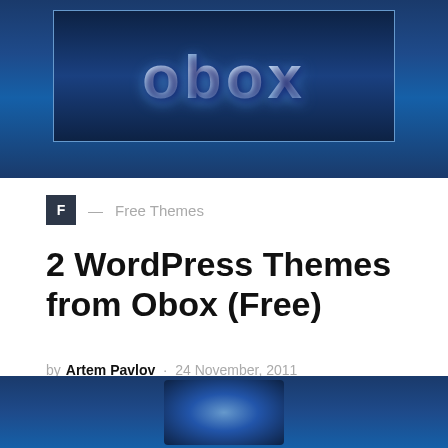[Figure (screenshot): Top banner image showing Obox logo text in blue gradient on dark navy background with inner framed box]
F — Free Themes
2 WordPress Themes from Obox (Free)
by Artem Pavlov · 24 November, 2011
Obox has been around for a while as Professional Premium Theme company and they have right now a···
[Figure (screenshot): Bottom partial image showing blue themed graphic with a figure/character silhouette]